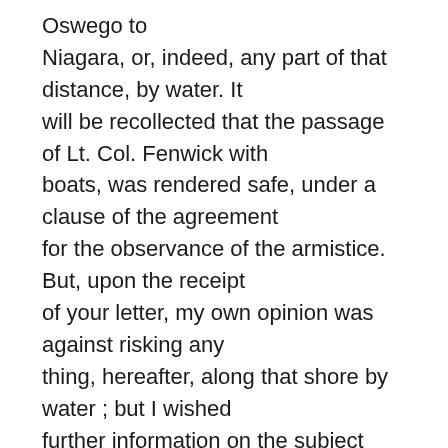Oswego to Niagara, or, indeed, any part of that distance, by water. It will be recollected that the passage of Lt. Col. Fenwick with boats, was rendered safe, under a clause of the agreement for the observance of the armistice. But, upon the receipt of your letter, my own opinion was against risking any thing, hereafter, along that shore by water ; but I wished further information on the subject before I should advise you The opinions of others whom I have advised with on this subject, and who are competent judges, fully